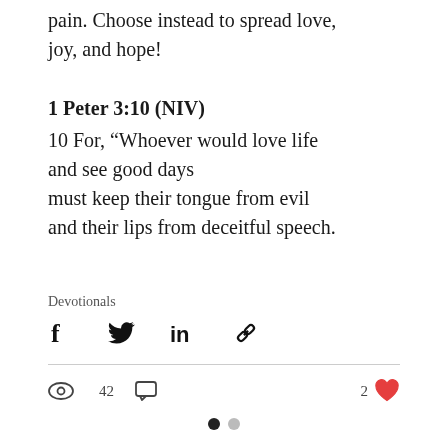pain. Choose instead to spread love, joy, and hope!
1 Peter 3:10 (NIV)
10 For, “Whoever would love life
and see good days
must keep their tongue from evil
and their lips from deceitful speech.
Devotionals
[Figure (infographic): Social share icons: Facebook, Twitter, LinkedIn, and a link/chain icon]
42 views, comment icon, 2 likes (heart icon in red)